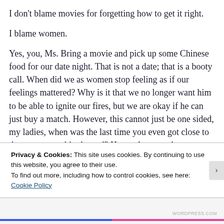I don't blame movies for forgetting how to get it right.
I blame women.
Yes, you, Ms. Bring a movie and pick up some Chinese food for our date night. That is not a date; that is a booty call. When did we as women stop feeling as if our feelings mattered? Why is it that we no longer want him to be able to ignite our fires, but we are okay if he can just buy a match. However, this cannot just be one sided, my ladies, when was the last time you even got close to the oven to get him heated? He needs as much romance as we do. Enough of the puppy love and unadventurous dates, time
Privacy & Cookies: This site uses cookies. By continuing to use this website, you agree to their use.
To find out more, including how to control cookies, see here: Cookie Policy